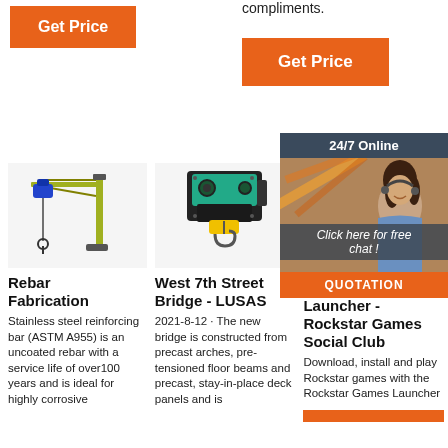compliments.
[Figure (other): Orange 'Get Price' button (top left)]
[Figure (other): Orange 'Get Price' button (top right)]
[Figure (other): 24/7 Online chat widget with woman wearing headset and Quotation button]
[Figure (photo): Yellow/green jib crane with blue hoist]
[Figure (photo): Industrial wire rope hoist with green motor housing and yellow hook block]
Rebar Fabrication
Stainless steel reinforcing bar (ASTM A955) is an uncoated rebar with a service life of over100 years and is ideal for highly corrosive
West 7th Street Bridge - LUSAS
2021-8-12 · The new bridge is constructed from precast arches, pre-tensioned floor beams and precast, stay-in-place deck panels and is
Rocks Launcher - Rockstar Games Social Club
Download, install and play Rockstar games with the Rockstar Games Launcher